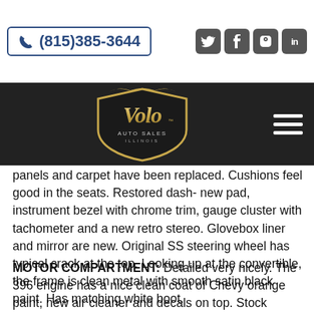(815)385-3644
[Figure (logo): Volo Auto Sales Illinois logo — gold cursive text on dark shield shape]
panels and carpet have been replaced. Cushions feel good in the seats. Restored dash- new pad, instrument bezel with chrome trim, gauge cluster with tachometer and a new retro stereo. Glovebox liner and mirror are new. Original SS steering wheel has typical crack at the top. Looking up at the convertible, the frame is clean metal with smooth satin black paint. Has matching white boot.
MOTOR COMPARTMENT: Detailed very nicely. The 396 engine has a nice clean coat of Chevy orange paint, new air cleaner and decals on top. Stock manifolds. The jambs are painted real slick. Inner fenders, bottom of hood, firewall are clean satin black.